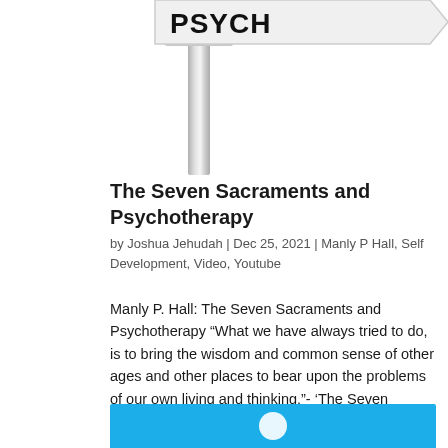[Figure (photo): Partial image of a street sign on a metal pole, showing bold black text (partially cut off) on a white arrow-shaped sign pointing right. Background is white.]
The Seven Sacraments and Psychotherapy
by Joshua Jehudah | Dec 25, 2021 | Manly P Hall, Self Development, Video, Youtube
Manly P. Hall: The Seven Sacraments and Psychotherapy “What we have always tried to do, is to bring the wisdom and common sense of other ages and other places to bear upon the problems of our own living and thinking.”- ‘The Seven Sacraments and…
[Figure (photo): Bottom portion of a blue banner/thumbnail image, partially visible at the bottom of the page.]